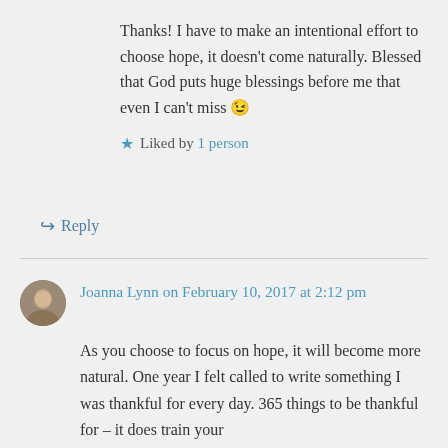Thanks! I have to make an intentional effort to choose hope, it doesn't come naturally. Blessed that God puts huge blessings before me that even I can't miss 😉
★ Liked by 1 person
↪ Reply
Joanna Lynn on February 10, 2017 at 2:12 pm
As you choose to focus on hope, it will become more natural. One year I felt called to write something I was thankful for every day. 365 things to be thankful for – it does train your